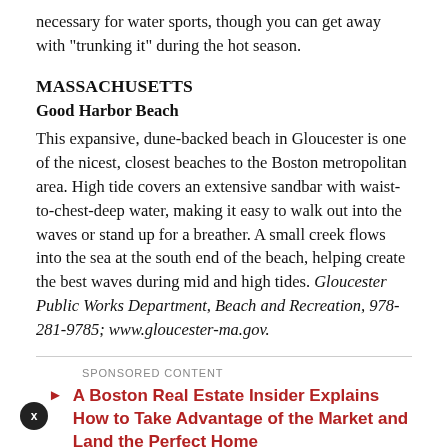necessary for water sports, though you can get away with “trunking it” during the hot season.
MASSACHUSETTS
Good Harbor Beach
This expansive, dune-backed beach in Gloucester is one of the nicest, closest beaches to the Boston metropolitan area. High tide covers an extensive sandbar with waist-to-chest-deep water, making it easy to walk out into the waves or stand up for a breather. A small creek flows into the sea at the south end of the beach, helping create the best waves during mid and high tides. Gloucester Public Works Department, Beach and Recreation, 978-281-9785; www.gloucester-ma.gov.
SPONSORED CONTENT
A Boston Real Estate Insider Explains How to Take Advantage of the Market and Land the Perfect Home